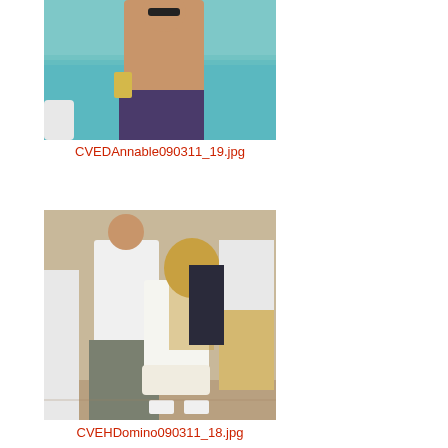[Figure (photo): Shirtless man holding a can at the beach, ocean water in background]
CVEDAnnable090311_19.jpg
[Figure (photo): A man in white shirt and a woman in white dress dancing or embracing at a party/event with other people in background]
CVEHDomino090311_18.jpg